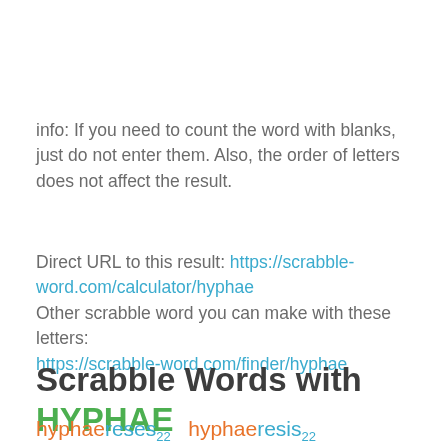info: If you need to count the word with blanks, just do not enter them. Also, the order of letters does not affect the result.
Direct URL to this result: https://scrabble-word.com/calculator/hyphae
Other scrabble word you can make with these letters:
https://scrabble-word.com/finder/hyphae
Scrabble Words with HYPHAE
hyphaereses22 hyphaeresis22